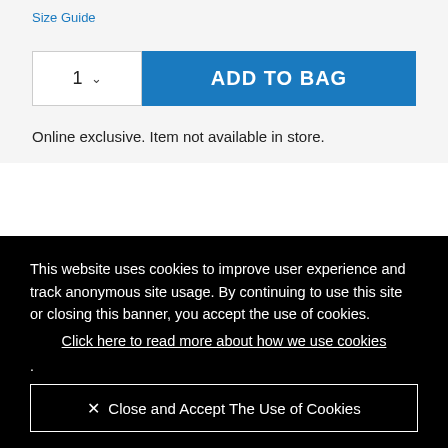Size Guide
1  ∨   ADD TO BAG
Online exclusive. Item not available in store.
This website uses cookies to improve user experience and track anonymous site usage. By continuing to use this site or closing this banner, you accept the use of cookies.
Click here to read more about how we use cookies
.
✕ Close and Accept The Use of Cookies